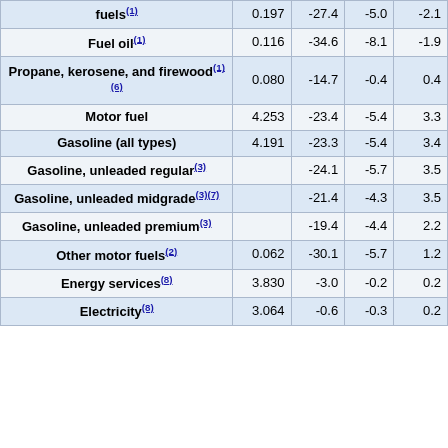| Item | Relative importance | 1-month % change | 2-month % change | 12-month % change |
| --- | --- | --- | --- | --- |
| fuels(1) | 0.197 | -27.4 | -5.0 | -2.1 |
| Fuel oil(1) | 0.116 | -34.6 | -8.1 | -1.9 |
| Propane, kerosene, and firewood(1)(6) | 0.080 | -14.7 | -0.4 | 0.4 |
| Motor fuel | 4.253 | -23.4 | -5.4 | 3.3 |
| Gasoline (all types) | 4.191 | -23.3 | -5.4 | 3.4 |
| Gasoline, unleaded regular(3) |  | -24.1 | -5.7 | 3.5 |
| Gasoline, unleaded midgrade(3)(7) |  | -21.4 | -4.3 | 3.5 |
| Gasoline, unleaded premium(3) |  | -19.4 | -4.4 | 2.2 |
| Other motor fuels(2) | 0.062 | -30.1 | -5.7 | 1.2 |
| Energy services(8) | 3.830 | -3.0 | -0.2 | 0.2 |
| Electricity(8) | 3.064 | -0.6 | -0.3 | 0.2 |